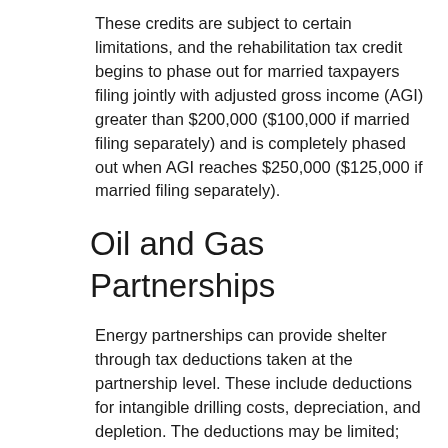These credits are subject to certain limitations, and the rehabilitation tax credit begins to phase out for married taxpayers filing jointly with adjusted gross income (AGI) greater than $200,000 ($100,000 if married filing separately) and is completely phased out when AGI reaches $250,000 ($125,000 if married filing separately).
Oil and Gas Partnerships
Energy partnerships can provide shelter through tax deductions taken at the partnership level. These include deductions for intangible drilling costs, depreciation, and depletion. The deductions may be limited; check with a tax professional to see whether you could benefit from oil and gas partnerships.
Suitability
There are risks associated with investing in partnerships. Key among these is that they are